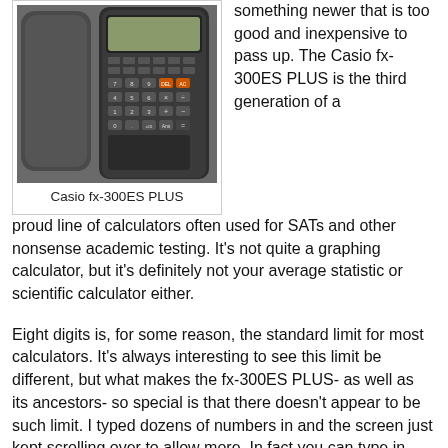[Figure (photo): Photo of a Casio fx-300ES PLUS calculator alongside its case/cover on a textured surface]
Casio fx-300ES PLUS
something newer that is too good and inexpensive to pass up. The Casio fx-300ES PLUS is the third generation of a proud line of calculators often used for SATs and other nonsense academic testing. It's not quite a graphing calculator, but it's definitely not your average statistic or scientific calculator either.
Eight digits is, for some reason, the standard limit for most calculators. It's always interesting to see this limit be different, but what makes the fx-300ES PLUS- as well as its ancestors- so special is that there doesn't appear to be such limit. I typed dozens of numbers in and the screen just kept scrolling over to allow more. In fact you can type in massive equations and this modern masterpiece will handle them.
The scroll function is also a fantastic feature, allowing you to